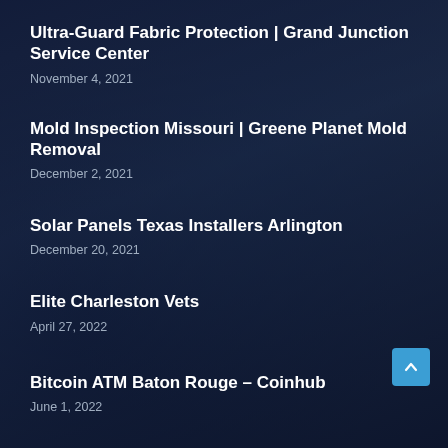Ultra-Guard Fabric Protection | Grand Junction Service Center
November 4, 2021
Mold Inspection Missouri | Greene Planet Mold Removal
December 2, 2021
Solar Panels Texas Installers Arlington
December 20, 2021
Elite Charleston Vets
April 27, 2022
Bitcoin ATM Baton Rouge – Coinhub
June 1, 2022